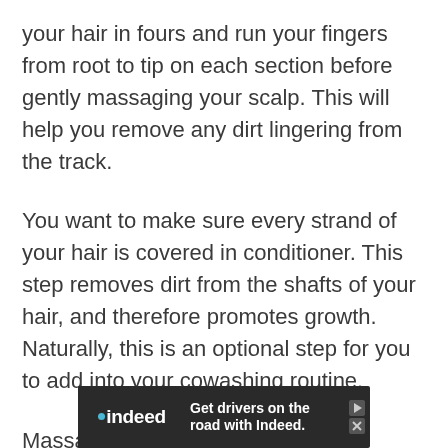your hair in fours and run your fingers from root to tip on each section before gently massaging your scalp. This will help you remove any dirt lingering from the track.
You want to make sure every strand of your hair is covered in conditioner. This step removes dirt from the shafts of your hair, and therefore promotes growth. Naturally, this is an optional step for you to add into your cowashing routine.
Massaging the conditioner into your scalp
[Figure (other): Indeed advertisement banner: logo with dot accent, text 'Get drivers on the road with Indeed.' with play and close buttons]